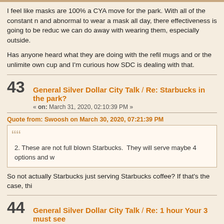I feel like masks are 100% a CYA move for the park. With all of the constant r... and abnormal to wear a mask all day, there effectiveness is going to be reduc... we can do away with wearing them, especially outside.
Has anyone heard what they are doing with the refil mugs and or the unlimite... own cup and I'm curious how SDC is dealing with that.
43 General Silver Dollar City Talk / Re: Starbucks in the park? « on: March 31, 2020, 02:10:39 PM »
Quote from: Swoosh on March 30, 2020, 07:21:39 PM
2. These are not full blown Starbucks.  They will serve maybe 4 options and w...
So not actually Starbucks just serving Starbucks coffee? If that's the case, thi...
44 General Silver Dollar City Talk / Re: 1 hour Your 3 must see « on: March 27, 2020, 08:50:11 AM »